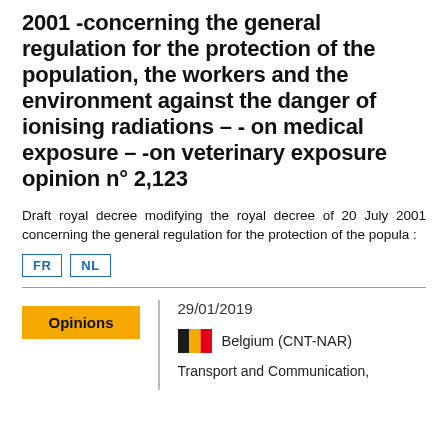2001 -concerning the general regulation for the protection of the population, the workers and the environment against the danger of ionising radiations – - on medical exposure – -on veterinary exposure opinion n° 2,123
Draft royal decree modifying the royal decree of 20 July 2001 concerning the general regulation for the protection of the popula :
FR  NL
Opinions
29/01/2019
Belgium (CNT-NAR)
Transport and Communication,